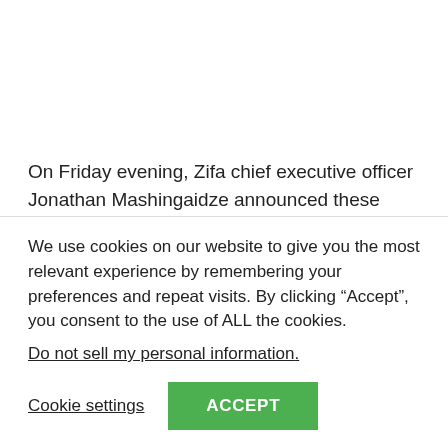On Friday evening, Zifa chief executive officer Jonathan Mashingaidze announced these revised figures, ahead of the March 26 election.
The football governing body had earlier pegged the Zifa presidency nomination fee at US$10 000 and PSL management
We use cookies on our website to give you the most relevant experience by remembering your preferences and repeat visits. By clicking “Accept”, you consent to the use of ALL the cookies.
Do not sell my personal information.
Cookie settings
ACCEPT